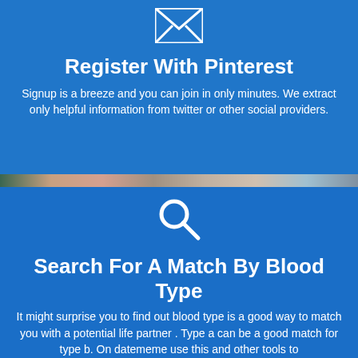[Figure (illustration): White envelope icon on blue background]
Register With Pinterest
Signup is a breeze and you can join in only minutes. We extract only helpful information from twitter or other social providers.
[Figure (illustration): White magnifying glass / search icon on blue background]
Search For A Match By Blood Type
It might surprise you to find out blood type is a good way to match you with a potential life partner . Type a can be a good match for type b. On datememe use this and other tools to